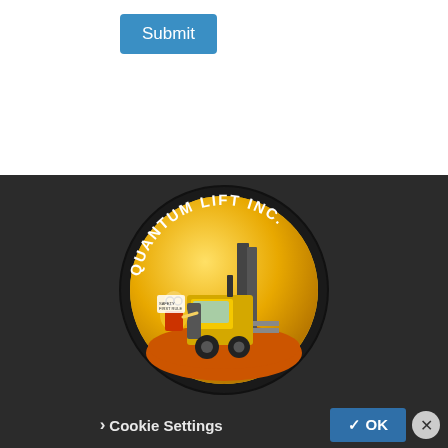Submit
[Figure (logo): Quantum Lift Inc. circular logo featuring a yellow forklift on an orange and black background with the company name arched around the top]
To offer you a better experience, this site uses profile cookies, even from third parties. By continuing to use this website you consent to the use of cookies. For more information or to select your preferences consult our Privacy Policy
Cookie Settings
✓ OK